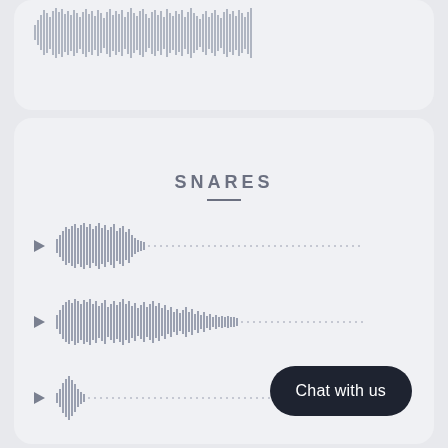[Figure (other): Top card showing a partial audio waveform, cropped at top]
SNARES
[Figure (other): Audio waveform row 1 with play button - short dense waveform fading to dotted line]
[Figure (other): Audio waveform row 2 with play button - longer dense waveform fading to dotted line]
[Figure (other): Audio waveform row 3 with play button - very short waveform fading to dotted line]
[Figure (other): Audio waveform row 4 with play button - medium waveform fading to dotted line]
Chat with us